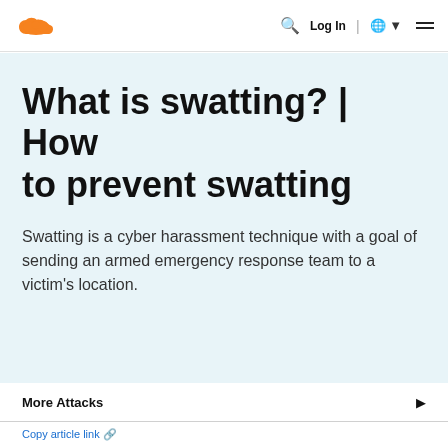Cloudflare logo | Log In | globe | menu
What is swatting? | How to prevent swatting
Swatting is a cyber harassment technique with a goal of sending an armed emergency response team to a victim's location.
More Attacks
Copy article link